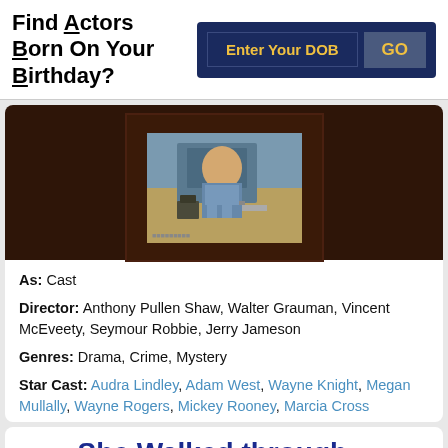Find Actors Born On Your Birthday?
[Figure (screenshot): Movie or TV show still image showing a person in a blue uniform with equipment, set against a dark brown leather-textured background]
As: Cast
Director: Anthony Pullen Shaw, Walter Grauman, Vincent McEveety, Seymour Robbie, Jerry Jameson
Genres: Drama, Crime, Mystery
Star Cast: Audra Lindley, Adam West, Wayne Knight, Megan Mullally, Wayne Rogers, Mickey Rooney, Marcia Cross
She Walked through...